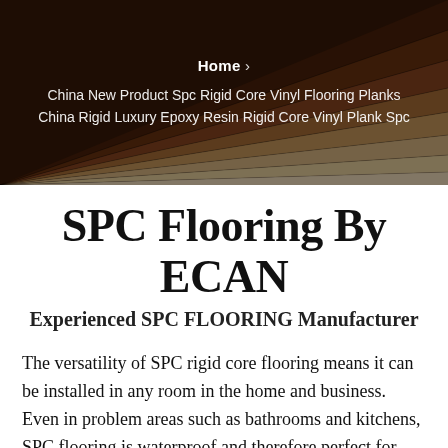[Figure (photo): Hero banner showing fanned-out SPC vinyl flooring planks in various wood-grain colors and patterns, overlaid with semi-transparent dark tint]
Home › China New Product Spc Rigid Core Vinyl Flooring Planks China Rigid Luxury Epoxy Resin Rigid Core Vinyl Plank Spc
SPC Flooring By ECAN
Experienced SPC FLOORING Manufacturer
The versatility of SPC rigid core flooring means it can be installed in any room in the home and business. Even in problem areas such as bathrooms and kitchens, SPC flooring is waterproof and therefore perfect for these installations. With the ultra stable core, it is also ideal for